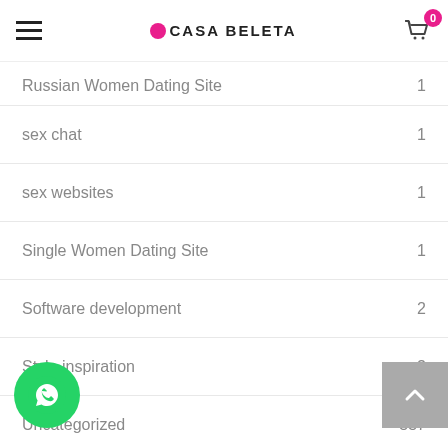CASA BELETA - navigation header with menu, logo, and cart (0 items)
Russian Women Dating Site  1
sex chat  1
sex websites  1
Single Women Dating Site  1
Software development  2
Style inspiration  3
Uncategorized  557
What Does It Mean To Be In Love  1
обучение  2